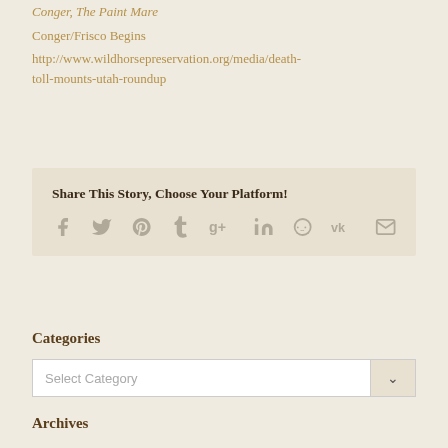Conger, The Paint Mare
Conger/Frisco Begins
http://www.wildhorsepreservation.org/media/death-toll-mounts-utah-roundup
Share This Story, Choose Your Platform!
[Figure (infographic): Social sharing icons: Facebook, Twitter, Pinterest, Tumblr, Google+, LinkedIn, Reddit, Vk, Email]
Categories
Select Category
Archives